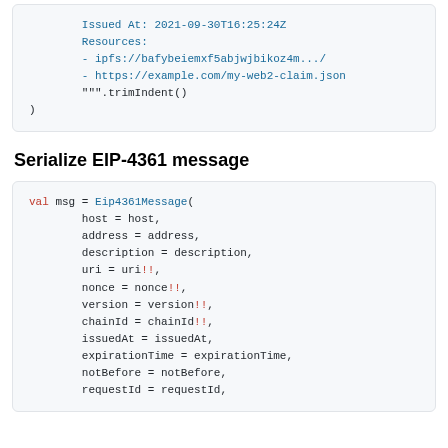[Figure (screenshot): Code block showing continuation of a Kotlin/code snippet with Issued At, Resources fields and trimIndent() call]
Serialize EIP-4361 message
[Figure (screenshot): Code block showing val msg = Eip4361Message( constructor with host, address, description, uri, nonce, version, chainId, issuedAt, expirationTime, notBefore, requestId fields]